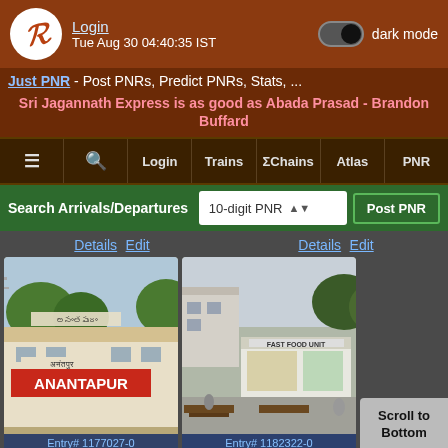Login | Tue Aug 30 04:40:35 IST | dark mode
Just PNR - Post PNRs, Predict PNRs, Stats, ...
Sri Jagannath Express is as good as Abada Prasad - Brandon Buffard
≡ | 🔍 | Login | Trains | ΣChains | Atlas | PNR
Search Arrivals/Departures | 10-digit PNR | Post PNR
Details Edit
Details Edit
[Figure (photo): Anantapur railway station building exterior with sign reading ANANTAPUR. Entry# 1177027-0]
[Figure (photo): Fast food court outdoor area at a railway station. Entry# 1182322-0]
Scroll to Bottom